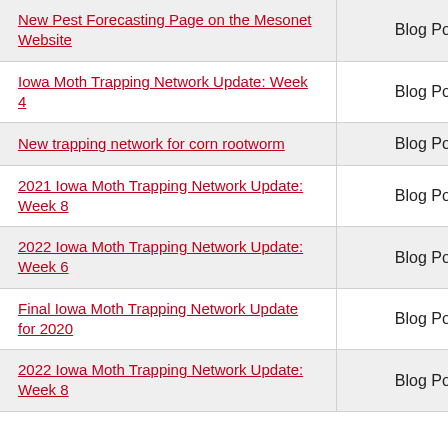| Title | Type |
| --- | --- |
| New Pest Forecasting Page on the Mesonet Website | Blog Post |
| Iowa Moth Trapping Network Update: Week 4 | Blog Post |
| New trapping network for corn rootworm | Blog Post |
| 2021 Iowa Moth Trapping Network Update: Week 8 | Blog Post |
| 2022 Iowa Moth Trapping Network Update: Week 6 | Blog Post |
| Final Iowa Moth Trapping Network Update for 2020 | Blog Post |
| 2022 Iowa Moth Trapping Network Update: Week 8 | Blog Post |